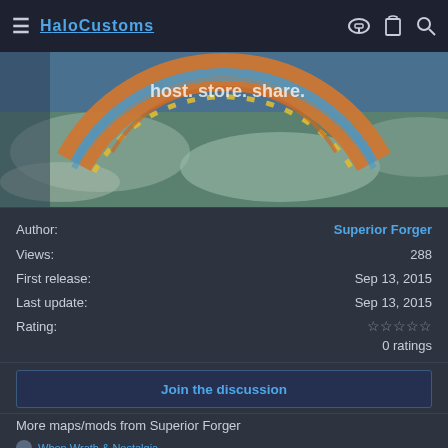HaloCustoms
[Figure (photo): Halo game screenshot showing a large ring structure (Halo ring) above a planet/Earth with clouds, with text 'host. store. share.' visible]
Author: Superior Forger
Views: 288
First release: Sep 13, 2015
Last update: Sep 13, 2015
Rating: ☆☆☆☆☆ 0 ratings
Join the discussion
More maps/mods from Superior Forger